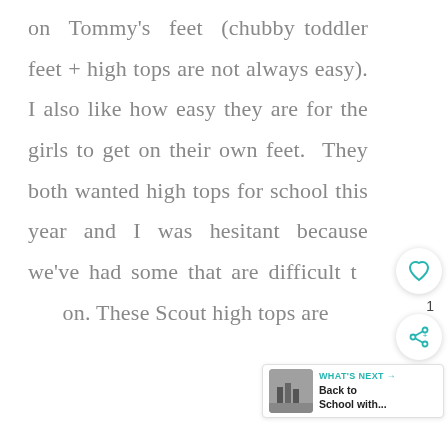on Tommy's feet (chubby toddler feet + high tops are not always easy). I also like how easy they are for the girls to get on their own feet. They both wanted high tops for school this year and I was hesitant because we've had some that are difficult to put on. These Scout high tops are
[Figure (other): UI overlay with heart/like button showing count of 1, share button, and a 'What's Next' card showing a thumbnail image and text 'Back to School with...']